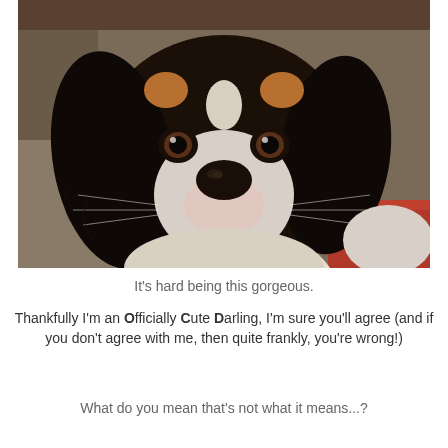[Figure (photo): Close-up photo of a Cavalier King Charles Spaniel dog with black, white, and tan coloring, sitting on a couch with cushions visible in the background. The dog has large brown eyes and long silky fur.]
It's hard being this gorgeous.
Thankfully I'm an Officially Cute Darling, I'm sure you'll agree (and if you don't agree with me, then quite frankly, you're wrong!)
What do you mean that's not what it means...?